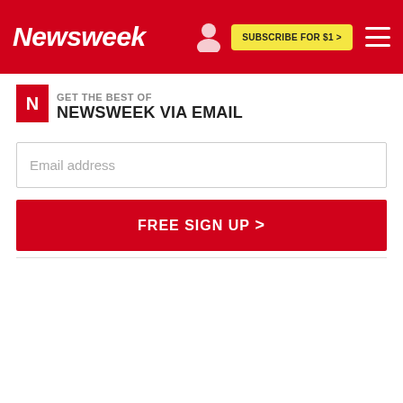Newsweek | SUBSCRIBE FOR $1 >
GET THE BEST OF NEWSWEEK VIA EMAIL
Email address
FREE SIGN UP >